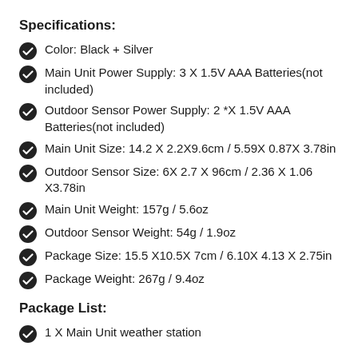Specifications:
Color: Black + Silver
Main Unit Power Supply: 3 X 1.5V AAA Batteries(not included)
Outdoor Sensor Power Supply: 2 *X 1.5V AAA Batteries(not included)
Main Unit Size: 14.2 X 2.2X9.6cm / 5.59X 0.87X 3.78in
Outdoor Sensor Size: 6X 2.7 X 96cm / 2.36 X 1.06 X3.78in
Main Unit Weight: 157g / 5.6oz
Outdoor Sensor Weight: 54g / 1.9oz
Package Size: 15.5 X10.5X 7cm / 6.10X 4.13 X 2.75in
Package Weight: 267g / 9.4oz
Package List:
1 X Main Unit weather station